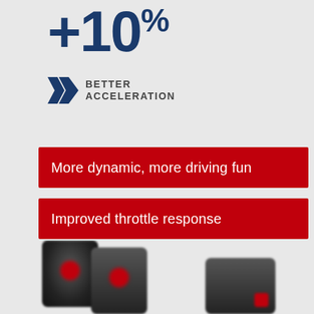+10%
BETTER ACCELERATION
More dynamic, more driving fun
Improved throttle response
Easy to install
Comments on performance figures ›
[Figure (photo): Two automotive performance devices (dongles/modules) shown at bottom of page, slightly blurred]